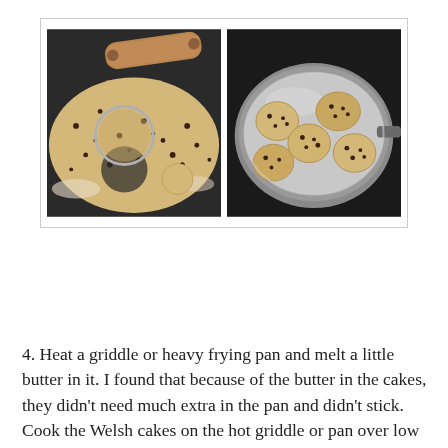[Figure (photo): Two side-by-side photos: left photo shows rolled-out dough with currants/raisins being cut into rounds with a circular cutter on a dark floured surface with a rolling pin visible; right photo shows several round Welsh cake rounds cooking in a stainless steel frying pan on a stove.]
4. Heat a griddle or heavy frying pan and melt a little butter in it. I found that because of the butter in the cakes, they didn't need much extra in the pan and didn't stick. Cook the Welsh cakes on the hot griddle or pan over low heat for about 3